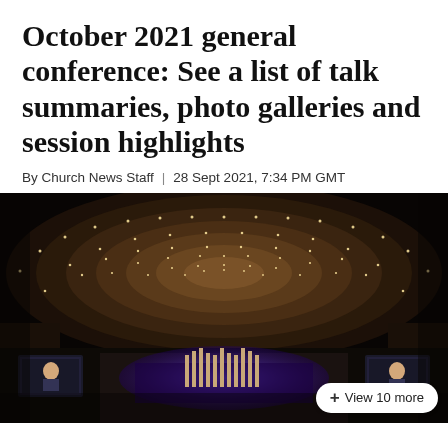October 2021 general conference: See a list of talk summaries, photo galleries and session highlights
By Church News Staff | 28 Sept 2021, 7:34 PM GMT
[Figure (photo): Interior of a large conference hall (Conference Center) viewed from below, showing a grand circular ceiling with rings of lights, and a stage with an organ and purple lighting at the bottom. Two video screens are visible on either side.]